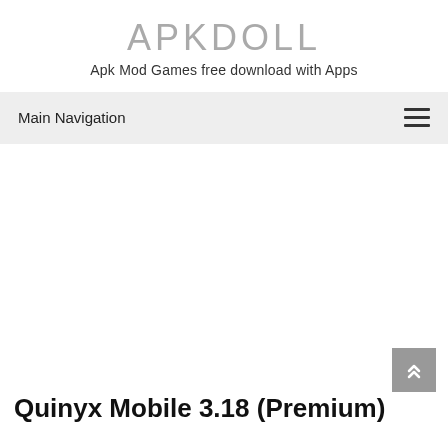APKDOLL
Apk Mod Games free download with Apps
Main Navigation
Quinyx Mobile 3.18 (Premium)